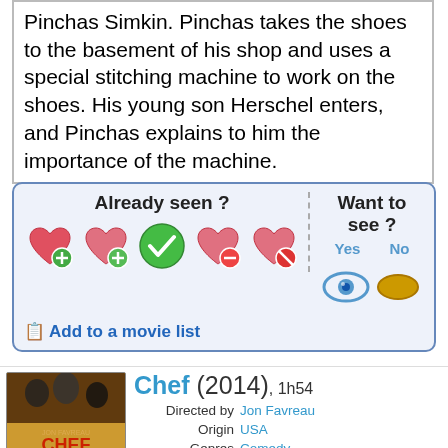Pinchas Simkin. Pinchas takes the shoes to the basement of his shop and uses a special stitching machine to work on the shoes. His young son Herschel enters, and Pinchas explains to him the importance of the machine.
[Figure (infographic): Interactive movie rating widget. Left side: 'Already seen?' with heart icons (add, add, check/seen, remove, remove). Right side: 'Want to see?' with Yes (eye icon) and No (pill/closed eye icon). Below: 'Add to a movie list' link.]
[Figure (infographic): Movie entry for Chef (2014), 1h54. Directed by Jon Favreau. Origin: USA. Genres: Comedy. Themes: Cooking films, Transport films, Films about automobiles, Road movies. Actors: Robert Downey Jr., Jon Favreau, Scarlett Johansson, Sofia Vergara, Dustin Hoffman, John Leguizamo. Includes movie poster thumbnail.]